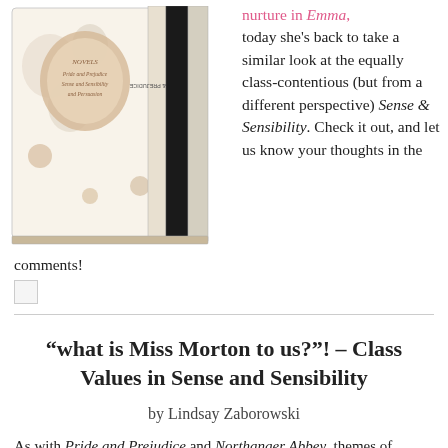[Figure (photo): A set of Jane Austen novels box set showing book spines including Pride & Prejudice, Sense & Sensibility, and Persuasion, with a floral decorated box cover.]
nurture in Emma, today she's back to take a similar look at the equally class-contentious (but from a different perspective) Sense & Sensibility. Check it out, and let us know your thoughts in the comments!
“what is Miss Morton to us?”! – Class Values in Sense and Sensibility
by Lindsay Zaborowski
As with Pride and Prejudice and Northanger Abbey, themes of personal characteristics attached to class permeate the events of the